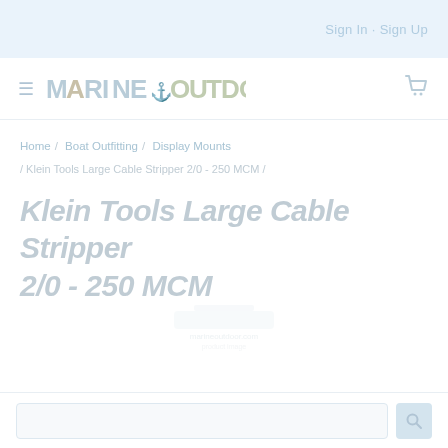Sign In · Sign Up
[Figure (logo): Marine Outdoor logo with anchor icon between MARINE and OUTDOOR text]
Home / Boat Outfitting / Display Mounts
Klein Tools Large Cable Stripper 2/0 - 250 MCM
Klein Tools Large Cable Stripper 2/0 - 250 MCM